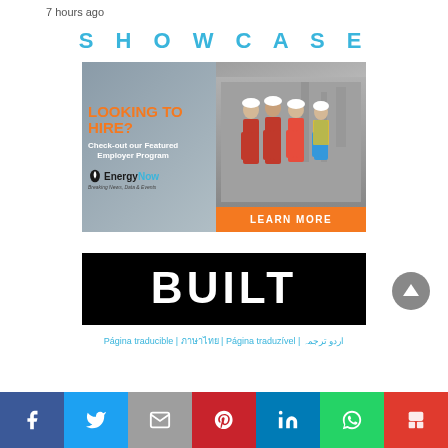7 hours ago
SHOWCASE
[Figure (illustration): EnergyNow advertisement banner: 'LOOKING TO HIRE? Check-out our Featured Employer Program' with EnergyNow logo on the left, workers in red coveralls on the right, and an orange 'LEARN MORE' button]
[Figure (illustration): Dark advertisement banner showing white text 'BUILT' on a black background, partially visible]
Página traducible | ภาษาไทย | Página traduzível | اردو ترجمہ
[Figure (infographic): Social media sharing bar with icons for Facebook, Twitter, Email, Pinterest, LinkedIn, WhatsApp, and Flipboard]